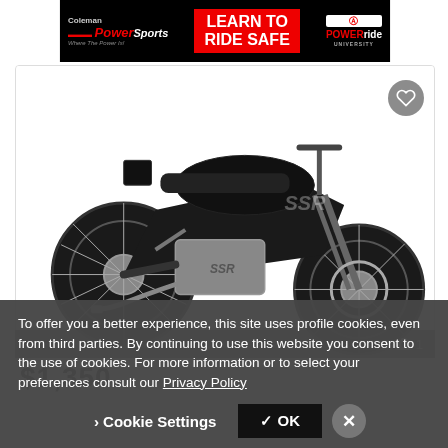[Figure (screenshot): Coleman PowerSports advertisement banner: black background with red 'PowerSports' branding on left, red center panel with white bold text 'LEARN TO RIDE SAFE', and Powerride University logo on right]
[Figure (photo): Black SSR dirt bike / pit bike motorcycle on white background, side view showing full bike with knobby tires, chrome engine, SSR logo on fuel tank and fairings. Photo counter overlay showing camera icon and '1' in bottom right corner.]
$1,350
To offer you a better experience, this site uses profile cookies, even from third parties. By continuing to use this website you consent to the use of cookies. For more information or to select your preferences consult our Privacy Policy
Cookie Settings
✓ OK